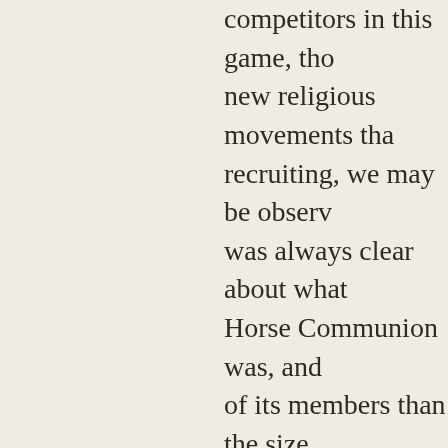competitors in this game, tho new religious movements tha recruiting, we may be observ was always clear about what Horse Communion was, and of its members than the size community has never gone i by Da Free John’s writings.
The other “techniques of ma subjected were really quite m fasting can hardly overpower the hundreds of millions of w their decision making. Simila meditation on the guru’s pict the person of Da Free John, a became saturated with an atm